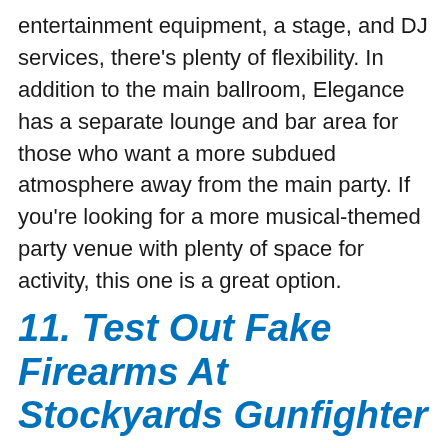entertainment equipment, a stage, and DJ services, there's plenty of flexibility. In addition to the main ballroom, Elegance has a separate lounge and bar area for those who want a more subdued atmosphere away from the main party. If you're looking for a more musical-themed party venue with plenty of space for activity, this one is a great option.
11. Test Out Fake Firearms At Stockyards Gunfighter
Firearms and alcohol don't mix, and a rowdy graduation party is the last place you want people pulling out their weapons, but sometimes the fun of a gun just can't be